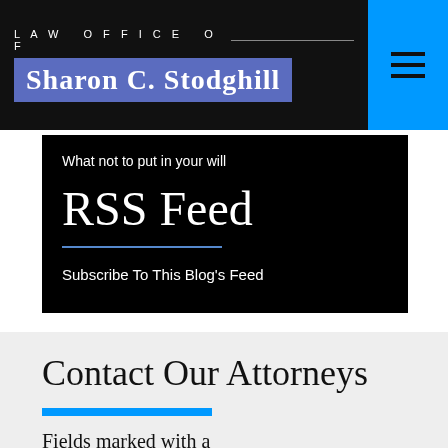LAW OFFICE OF Sharon C. Stodghill
What not to put in your will
RSS Feed
Subscribe To This Blog's Feed
Contact Our Attorneys
Fields marked with a